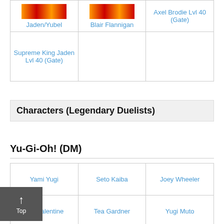|  |  |  |
| --- | --- | --- |
| Jaden/Yubel | Blair Flannigan | Axel Brodie Lvl 40 (Gate) |
| Supreme King Jaden Lvl 40 (Gate) |  |  |
Characters (Legendary Duelists)
Yu-Gi-Oh! (DM)
|  |  |  |
| --- | --- | --- |
| Yami Yugi | Seto Kaiba | Joey Wheeler |
| Mai Valentine | Tea Gardner | Yugi Muto |
| Weevil Underwood | Rex Raptor | Mako Tsunami |